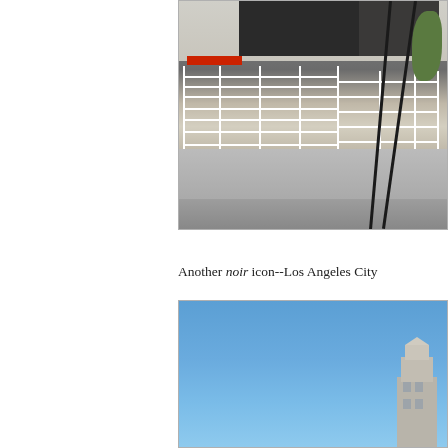[Figure (photo): Rooftop photo showing white metal railings/stairs on a building rooftop with industrial equipment and some vegetation visible in the background]
Another noir icon--Los Angeles City
[Figure (photo): Photo of Los Angeles City Hall building against a clear blue sky, with the art deco tower visible in the lower right portion of the image]